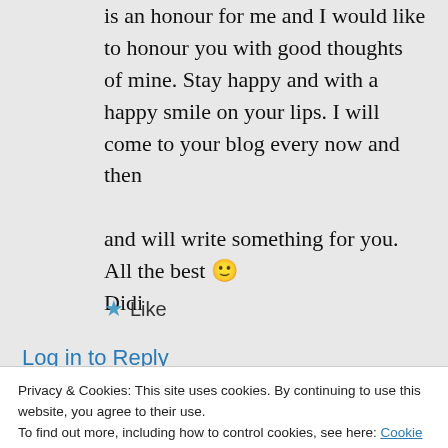is an honour for me and I would like to honour you with good thoughts of mine. Stay happy and with a happy smile on your lips. I will come to your blog every now and then
and will write something for you.
All the best 🙂
Didi
★ Like
Log in to Reply
Privacy & Cookies: This site uses cookies. By continuing to use this website, you agree to their use.
To find out more, including how to control cookies, see here: Cookie Policy